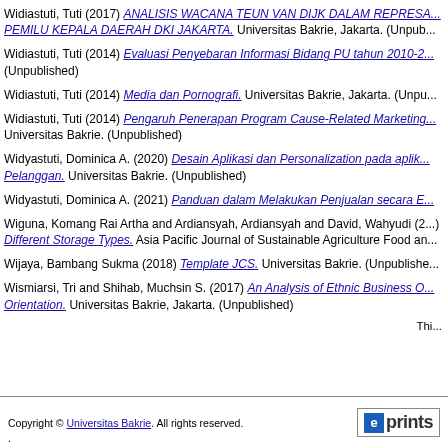Widiastuti, Tuti (2017) ANALISIS WACANA TEUN VAN DIJK DALAM REPRESA... PEMILU KEPALA DAERAH DKI JAKARTA. Universitas Bakrie, Jakarta. (Unpub...
Widiastuti, Tuti (2014) Evaluasi Penyebaran Informasi Bidang PU tahun 2010-2... (Unpublished)
Widiastuti, Tuti (2014) Media dan Pornografi. Universitas Bakrie, Jakarta. (Unpu...
Widiastuti, Tuti (2014) Pengaruh Penerapan Program Cause-Related Marketing... Universitas Bakrie. (Unpublished)
Widyastuti, Dominica A. (2020) Desain Aplikasi dan Personalization pada aplik... Pelanggan. Universitas Bakrie. (Unpublished)
Widyastuti, Dominica A. (2021) Panduan dalam Melakukan Penjualan secara E...
Wiguna, Komang Rai Artha and Ardiansyah, Ardiansyah and David, Wahyudi (2... Different Storage Types. Asia Pacific Journal of Sustainable Agriculture Food an...
Wijaya, Bambang Sukma (2018) Template JCS. Universitas Bakrie. (Unpublishe...
Wismiarsi, Tri and Shihab, Muchsin S. (2017) An Analysis of Ethnic Business O... Orientation. Universitas Bakrie, Jakarta. (Unpublished)
Thi...
Copyright © Universitas Bakrie. All rights reserved.
.